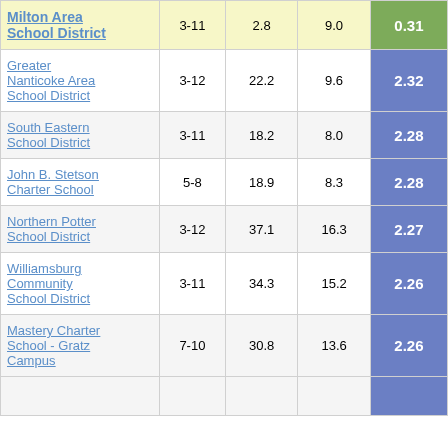| School/District | Grades | Col3 | Col4 | Score |
| --- | --- | --- | --- | --- |
| Milton Area School District | 3-11 | 2.8 | 9.0 | 0.31 |
| Greater Nanticoke Area School District | 3-12 | 22.2 | 9.6 | 2.32 |
| South Eastern School District | 3-11 | 18.2 | 8.0 | 2.28 |
| John B. Stetson Charter School | 5-8 | 18.9 | 8.3 | 2.28 |
| Northern Potter School District | 3-12 | 37.1 | 16.3 | 2.27 |
| Williamsburg Community School District | 3-11 | 34.3 | 15.2 | 2.26 |
| Mastery Charter School - Gratz Campus | 7-10 | 30.8 | 13.6 | 2.26 |